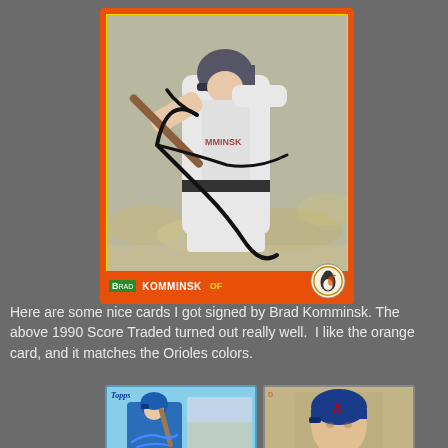[Figure (photo): 1990 Score Traded baseball card of Brad Komminsk with orange border. Shows Komminsk mid-swing in Baltimore Orioles uniform. Card has autograph in black marker. Bottom bar reads 'BRAD KOMMINSK OF' with Orioles logo.]
Here are some nice cards I got signed by Brad Komminsk. The above 1990 Score Traded turned out really well.  I like the orange card, and it matches the Orioles colors.
[Figure (photo): Topps baseball card of Brad Komminsk in Blue Jays blue uniform, signed in blue marker.]
[Figure (photo): Donruss baseball card of Brad Komminsk in Atlanta Braves uniform with blue cap and 'A' logo.]